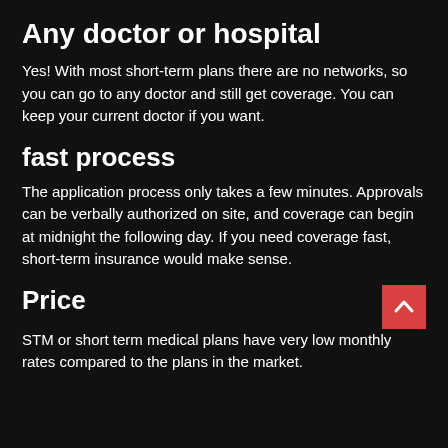Any doctor or hospital
Yes! With most short-term plans there are no networks, so you can go to any doctor and still get coverage. You can keep your current doctor if you want.
fast process
The application process only takes a few minutes. Approvals can be verbally authorized on site, and coverage can begin at midnight the following day. If you need coverage fast, short-term insurance would make sense.
Price
STM or short term medical plans have very low monthly rates compared to the plans in the market.